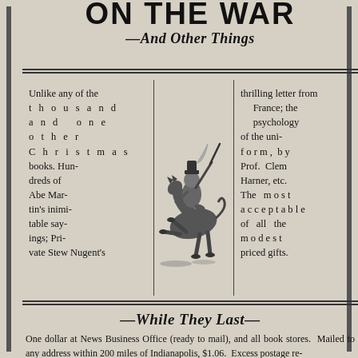ON THE WAR —And Other Things
Unlike any of the thousand and one other Christmas books. Hundreds of Abe Martin's inimitable sayings; Private Stew Nugent's thrilling letter from France; the psychology of the uniform, by Prof. Clem Harner, etc. The most acceptable of all the modest priced gifts.
[Figure (illustration): Cartoon illustration of a cowboy or soldier on a rearing horse, holding a rifle or stick overhead]
—While They Last—
One dollar at News Business Office (ready to mail), and all book stores. Mailed to any address within 200 miles of Indianapolis, $1.06. Excess postage returned to sender. Address ABE MARTIN PUBLISH-